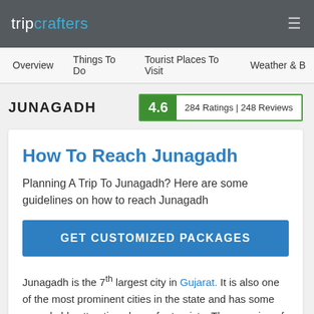tripcrafters
Overview   Things To Do   Tourist Places To Visit   Weather &
JUNAGADH
4.6   284 Ratings | 248 Reviews
How To Reach Junagadh
Planning A Trip To Junagadh? Here are some guidelines on how to reach Junagadh
GET CUSTOMIZED PACKAGES
Junagadh is the 7th largest city in Gujarat. It is also one of the most prominent cities in the state and has some remarkably attractive places for tourists. The meaning of